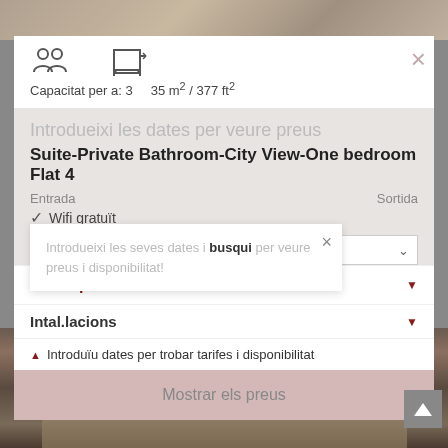[Figure (photo): Top photo strip of a room/hotel interior]
Capacitat per a: 3    35 m² / 377 ft²
Suite-Private Bathroom-City View-One bedroom Flat 4
Introdueixi les dates per veure preus
Entrada    Sortida
✓ Wifi gratuït
Entrada   Sortida
Introdueixi les seves dates i busqui per veure preus i disponibilitat!
Descripció
Intal.lacions
▲ Introduïu dates per trobar tarifes i disponibilitat
Mostrar els preus
[Figure (photo): Bottom photo of hotel room with deer artwork and lamp]